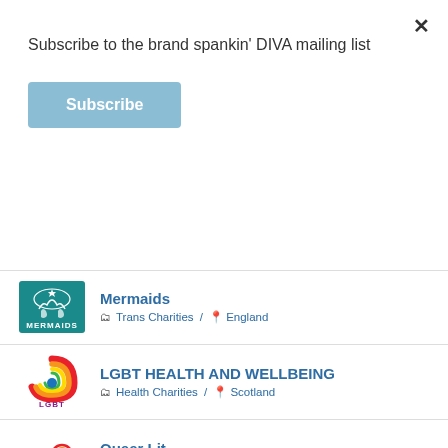Subscribe to the brand spankin' DIVA mailing list
Subscribe
Mermaids | Trans Charities / England
LGBT HEALTH AND WELLBEING | Health Charities / Scotland
Queer Lit | Books / England
Paul Beare Accounting | Accountants / England